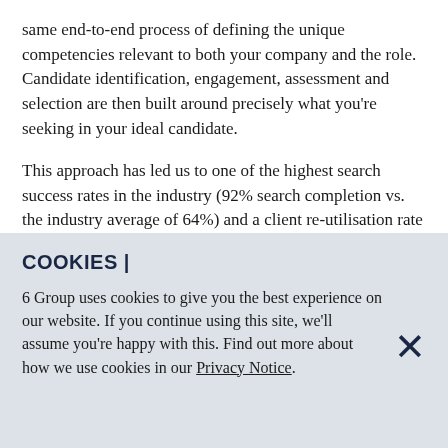same end-to-end process of defining the unique competencies relevant to both your company and the role. Candidate identification, engagement, assessment and selection are then built around precisely what you're seeking in your ideal candidate.
This approach has led us to one of the highest search success rates in the industry (92% search completion vs. the industry average of 64%) and a client re-utilisation rate of 100% since 2006. Every company we've ever partnered with has
COOKIES |
6 Group uses cookies to give you the best experience on our website. If you continue using this site, we'll assume you're happy with this. Find out more about how we use cookies in our Privacy Notice.